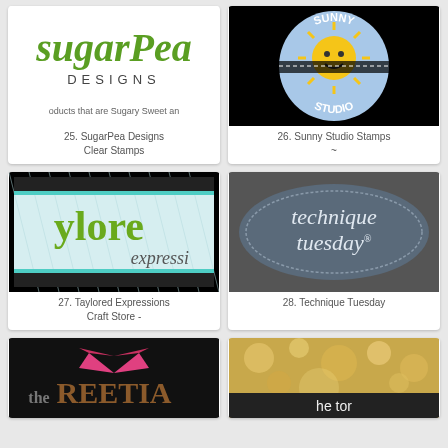[Figure (logo): SugarPea Designs logo - green script text 'sugarPea' with 'DESIGNS' below, tagline partially visible]
25. SugarPea Designs Clear Stamps
[Figure (logo): Sunny Studio Stamps logo - circular badge with blue background, yellow smiling sun, text 'SUNNY STUDIO' in circle]
26. Sunny Studio Stamps ~
[Figure (logo): Taylored Expressions logo - green script 'ylore' with 'expressi' below on light blue diagonal stripe background with black border ornament]
27. Taylored Expressions Craft Store -
[Figure (logo): Technique Tuesday logo - grey oval with white script text 'technique tuesday' with registered trademark symbol]
28. Technique Tuesday
[Figure (logo): The Greeting Farm logo partially visible - black background with pink bow and brown serif text 'REETIA']
[Figure (logo): The Ton logo partially visible - bokeh gold/beige background with dark bar at bottom showing 'he tor' text]